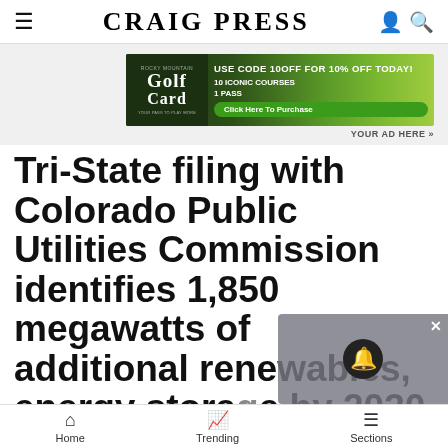Craig Press
[Figure (infographic): Rocky Mountain Golf Card advertisement banner: 'USE CODE 10OFF FOR 10% OFF TODAY! 10 ICONIC COURSES 1 PASS' with Click Here To Purchase button]
YOUR AD HERE »
Tri-State filing with Colorado Public Utilities Commission identifies 1,850 megawatts of additional renewables, energy storage by 2030
Home  Trending  Sections